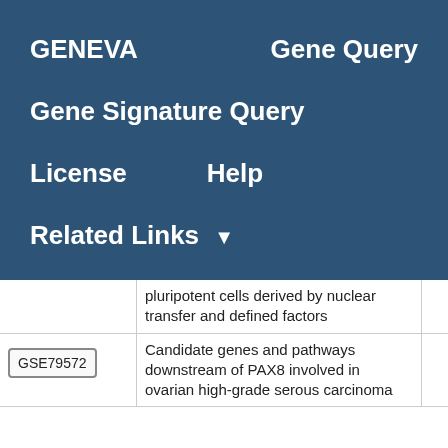GENEVA    Gene Query
Gene Signature Query
License    Help
Related Links ▼
|  | Description | Score |
| --- | --- | --- |
|  | pluripotent cells derived by nuclear transfer and defined factors |  |
| GSE79572 | Candidate genes and pathways downstream of PAX8 involved in ovarian high-grade serous carcinoma | 6.28 |